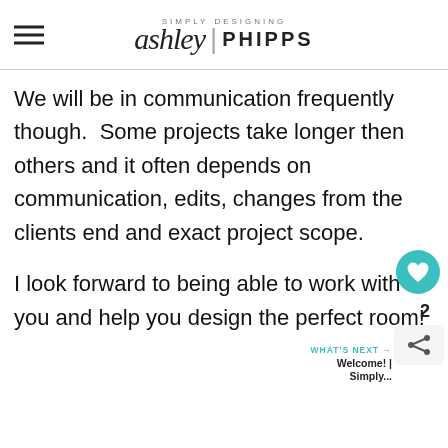Simply Designing ashley | PHIPPS
We will be in communication frequently though. Some projects take longer then others and it often depends on communication, edits, changes from the clients end and exact project scope.

I look forward to being able to work with you and help you design the perfect room!